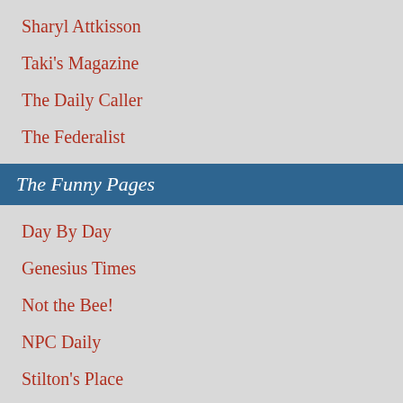Sharyl Attkisson
Taki's Magazine
The Daily Caller
The Federalist
The Funny Pages
Day By Day
Genesius Times
Not the Bee!
NPC Daily
Stilton's Place
The Babylon Bee
The Far Side
The Hard Times